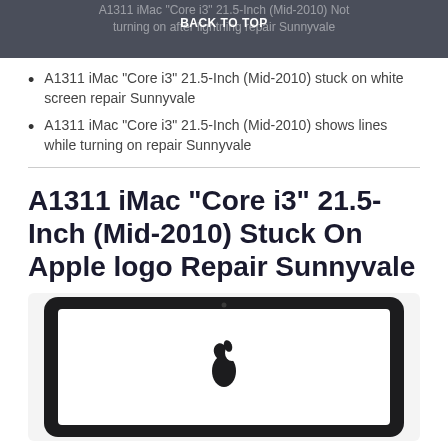BACK TO TOP
A1311 iMac “Core i3” 21.5-Inch (Mid-2010) stuck on white screen repair Sunnyvale
A1311 iMac “Core i3” 21.5-Inch (Mid-2010) shows lines while turning on repair Sunnyvale
A1311 iMac “Core i3” 21.5-Inch (Mid-2010) Stuck On Apple logo Repair Sunnyvale
[Figure (photo): MacBook/iMac screen showing Apple logo on dark display, viewed from front, with thin dark bezel frame]